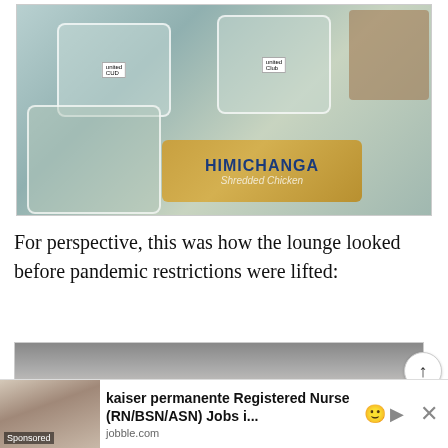[Figure (photo): Overhead view of packaged food items on a light blue surface: several plastic deli containers with salad, fruit/vegetables, and a chimichanga shredded chicken burrito package, plus a brown packaged snack item.]
For perspective, this was how the lounge looked before pandemic restrictions were lifted:
[Figure (photo): Interior of an airport lounge showing a modern ceiling with recessed lighting and an illuminated white strip along the wall.]
[Figure (other): Advertisement banner: kaiser permanente Registered Nurse (RN/BSN/ASN) Jobs i... — jobble.com — Sponsored]